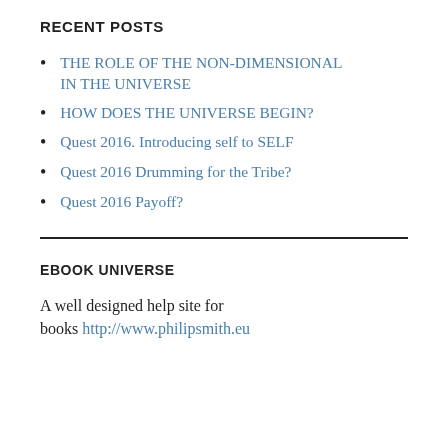RECENT POSTS
THE ROLE OF THE NON-DIMENSIONAL IN THE UNIVERSE
HOW DOES THE UNIVERSE BEGIN?
Quest 2016. Introducing self to SELF
Quest 2016 Drumming for the Tribe?
Quest 2016 Payoff?
EBOOK UNIVERSE
A well designed help site for books http://www.philipsmith.eu